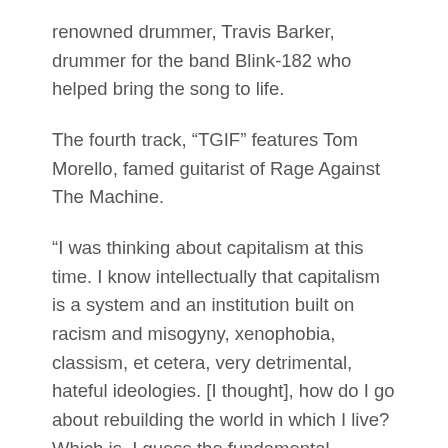renowned drummer, Travis Barker, drummer for the band Blink-182 who helped bring the song to life.
The fourth track, “TGIF” features Tom Morello, famed guitarist of Rage Against The Machine.
“I was thinking about capitalism at this time. I know intellectually that capitalism is a system and an institution built on racism and misogyny, xenophobia, classism, et cetera, very detrimental, hateful ideologies. [I thought], how do I go about rebuilding the world in which I live? Which is, I guess the fundamental conundrum of a revolution, not that that’s what I’m trying to start with this song, but that was my headspace.”